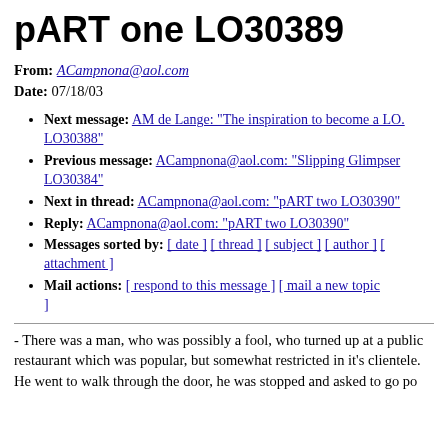pART one LO30389
From: ACampnona@aol.com
Date: 07/18/03
Next message: AM de Lange: "The inspiration to become a LO. LO30388"
Previous message: ACampnona@aol.com: "Slipping Glimpser LO30384"
Next in thread: ACampnona@aol.com: "pART two LO30390"
Reply: ACampnona@aol.com: "pART two LO30390"
Messages sorted by: [ date ] [ thread ] [ subject ] [ author ] [ attachment ]
Mail actions: [ respond to this message ] [ mail a new topic ]
- There was a man, who was possibly a fool, who turned up at a public
restaurant which was popular, but somewhat restricted in it's clientele.
He went to walk through the door, he was stopped and asked to go po